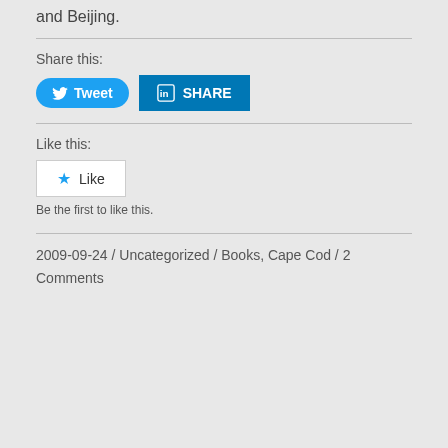and Beijing.
Share this:
[Figure (other): Tweet button (Twitter) and LinkedIn Share button]
Like this:
[Figure (other): Like button with star icon]
Be the first to like this.
2009-09-24 / Uncategorized / Books, Cape Cod / 2 Comments